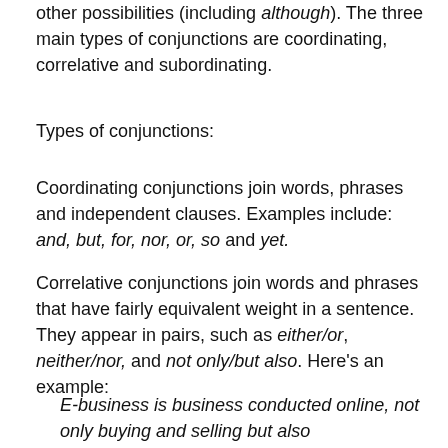other possibilities (including although). The three main types of conjunctions are coordinating, correlative and subordinating.
Types of conjunctions:
Coordinating conjunctions join words, phrases and independent clauses. Examples include: and, but, for, nor, or, so and yet.
Correlative conjunctions join words and phrases that have fairly equivalent weight in a sentence. They appear in pairs, such as either/or, neither/nor, and not only/but also. Here's an example:
E-business is business conducted online, not only buying and selling but also